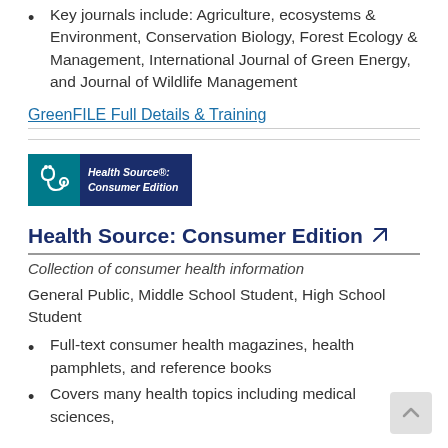Key journals include: Agriculture, ecosystems & Environment, Conservation Biology, Forest Ecology & Management, International Journal of Green Energy, and Journal of Wildlife Management
GreenFILE Full Details & Training
[Figure (logo): Health Source: Consumer Edition logo — teal background with stethoscope icon and dark blue text panel]
Health Source: Consumer Edition
Collection of consumer health information
General Public, Middle School Student, High School Student
Full-text consumer health magazines, health pamphlets, and reference books
Covers many health topics including medical sciences,